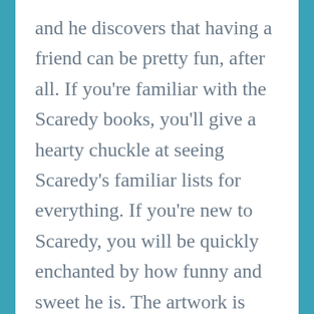and he discovers that having a friend can be pretty fun, after all. If you're familiar with the Scaredy books, you'll give a hearty chuckle at seeing Scaredy's familiar lists for everything. If you're new to Scaredy, you will be quickly enchanted by how funny and sweet he is. The artwork is adorable, expressive, bold, and eyecatching; there are three easy-to-navigate chapters that advance the story and